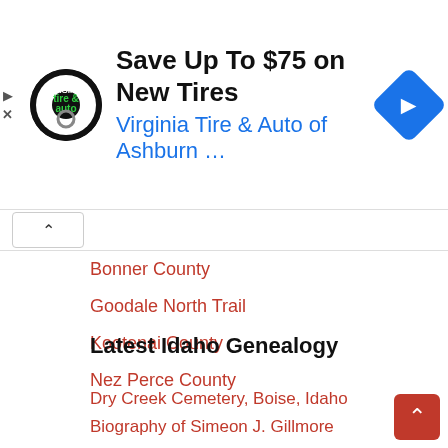[Figure (screenshot): Advertisement banner for Virginia Tire & Auto of Ashburn with logo, headline 'Save Up To $75 on New Tires', subline 'Virginia Tire & Auto of Ashburn ...', and a blue navigation diamond icon]
Bonner County
Goodale North Trail
Kootenai County
Nez Perce County
Latest Idaho Genealogy
Dry Creek Cemetery, Boise, Idaho
Biography of Simeon J. Gillmore